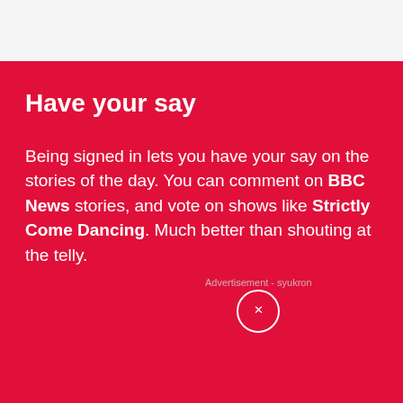Have your say
Being signed in lets you have your say on the stories of the day. You can comment on BBC News stories, and vote on shows like Strictly Come Dancing. Much better than shouting at the telly.
Advertisement - syukron